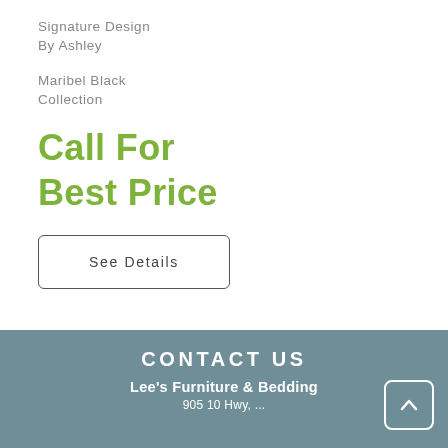Signature Design By Ashley
Maribel Black Collection
Call For Best Price
See Details
CONTACT US
Lee's Furniture & Bedding
905 10 Hwy, ...